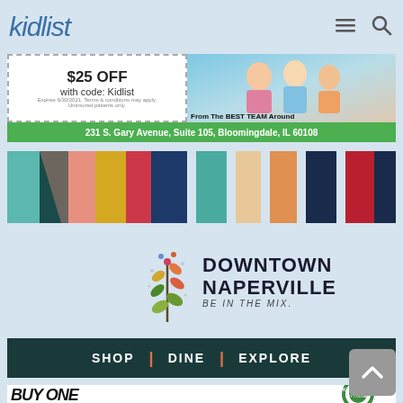kidlist
[Figure (screenshot): Advertisement banner: coupon showing $25 OFF with code: Kidlist, and photo of children with text 'From The BEST TEAM Around' and address '231 S. Gary Avenue, Suite 105, Bloomingdale, IL 60108' on green bar]
[Figure (illustration): Colorful vertical stripe bands in teal, dark teal, salmon, yellow, red, dark blue, teal, light tan, orange, dark navy, crimson colors]
[Figure (logo): Downtown Naperville logo with decorative plant/flower icon and text DOWNTOWN NAPERVILLE BE IN THE MIX.]
[Figure (screenshot): Navigation bar with SHOP | DINE | EXPLORE on dark teal background]
[Figure (screenshot): BUY ONE banner at bottom with Kane County logo partial]